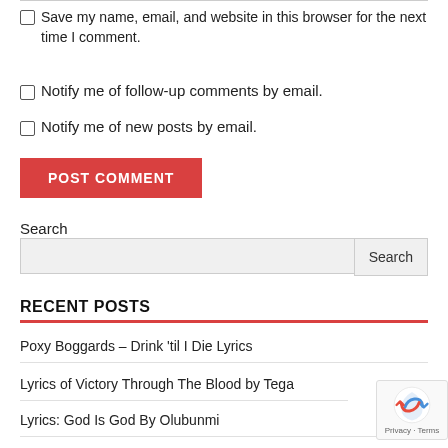Save my name, email, and website in this browser for the next time I comment.
Notify me of follow-up comments by email.
Notify me of new posts by email.
POST COMMENT
Search
RECENT POSTS
Poxy Boggards – Drink 'til I Die Lyrics
Lyrics of Victory Through The Blood by Tega
Lyrics: God Is God By Olubunmi